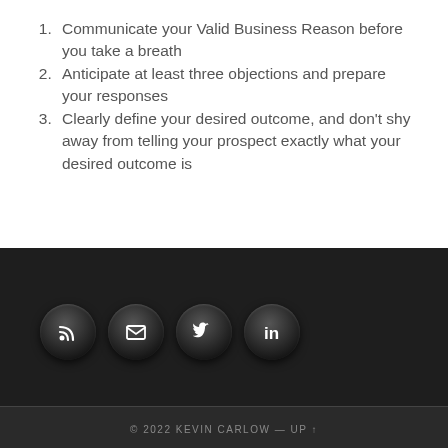Communicate your Valid Business Reason before you take a breath
Anticipate at least three objections and prepare your responses
Clearly define your desired outcome, and don't shy away from telling your prospect exactly what your desired outcome is
[Figure (infographic): Four dark circular social media icon buttons: RSS feed, Email/envelope, Twitter, LinkedIn]
© 2022 KEVIN CARLOW — UP ↑